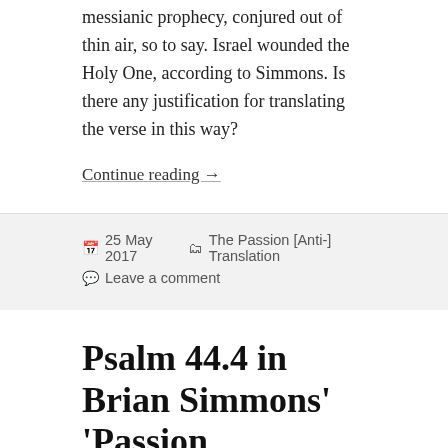messianic prophecy, conjured out of thin air, so to say. Israel wounded the Holy One, according to Simmons. Is there any justification for translating the verse in this way?
Continue reading →
25 May 2017   The Passion [Anti-] Translation
Leave a comment
Psalm 44.4 in Brian Simmons' 'Passion Translation': 'Command deliverances for Jacob' or 'Decree majesties for